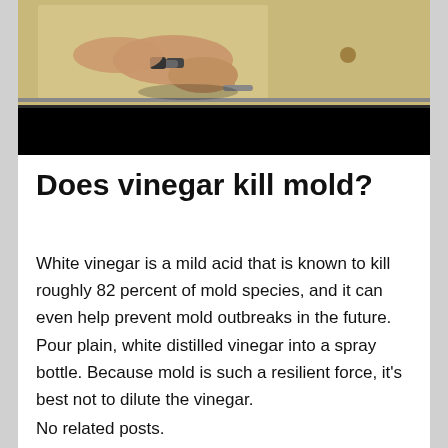[Figure (photo): A person's hand with bracelets pulling open a wooden drawer of a cabinet/dresser. The lower portion of the image is black.]
Does vinegar kill mold?
White vinegar is a mild acid that is known to kill roughly 82 percent of mold species, and it can even help prevent mold outbreaks in the future. Pour plain, white distilled vinegar into a spray bottle. Because mold is such a resilient force, it's best not to dilute the vinegar.
No related posts.